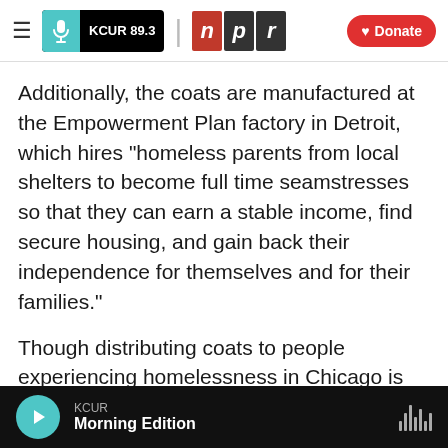KCUR 89.3 | npr | Donate
Additionally, the coats are manufactured at the Empowerment Plan factory in Detroit, which hires "homeless parents from local shelters to become full time seamstresses so that they can earn a stable income, find secure housing, and gain back their independence for themselves and for their families."
Though distributing coats to people experiencing homelessness in Chicago is the project's immediate plan, the ultimate goal of the partnership is to open an Empowerment Plan factory in Chicago to bring jobs to the city as well
KCUR — Morning Edition